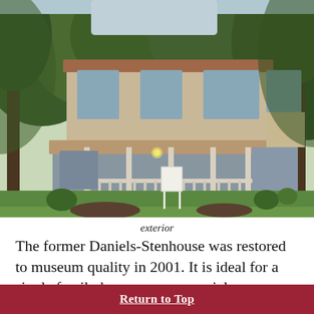[Figure (photo): Exterior photograph of the former Daniels-Stenhouse house, a two-story historic home with a wraparound porch, shown surrounded by large trees and green lawn, with a real estate sign in the front yard.]
exterior
The former Daniels-Stenhouse was restored to museum quality in 2001. It is ideal for a single family home or commercial use. Currently, it is a B&B with overnight lodging and 3 – 6 month guests.
Return to Top